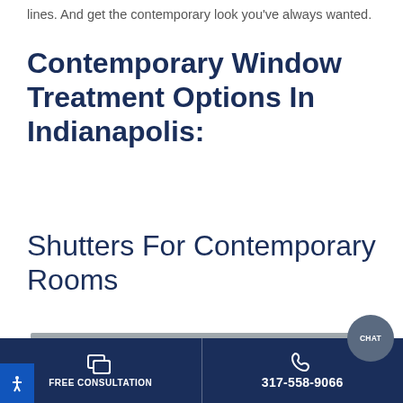lines. And get the contemporary look you've always wanted.
Contemporary Window Treatment Options In Indianapolis:
Shutters For Contemporary Rooms
[Figure (photo): Partial photo of a window treatment — shutters or blinds in a contemporary room, showing a white window covering against a grey wall.]
FREE CONSULTATION | 317-558-9066 | CHAT